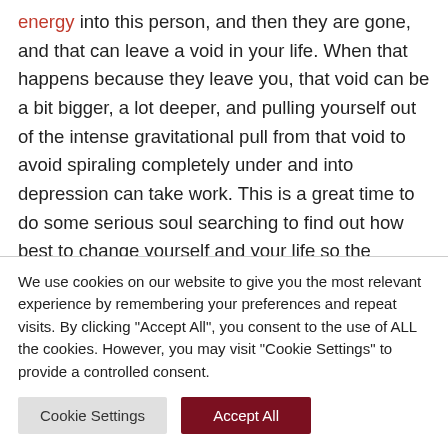energy into this person, and then they are gone, and that can leave a void in your life. When that happens because they leave you, that void can be a bit bigger, a lot deeper, and pulling yourself out of the intense gravitational pull from that void to avoid spiraling completely under and into depression can take work. This is a great time to do some serious soul searching to find out how best to change yourself and your life so the spiraling stops, and hopefully, you come out of it feeling even better than
We use cookies on our website to give you the most relevant experience by remembering your preferences and repeat visits. By clicking "Accept All", you consent to the use of ALL the cookies. However, you may visit "Cookie Settings" to provide a controlled consent.